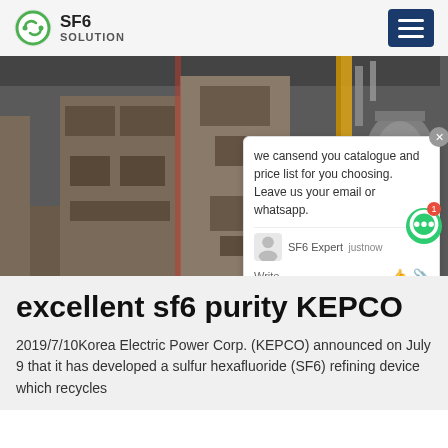SF6 SOLUTION
[Figure (photo): Industrial electrical switchgear facility showing large metal cabinets and high-voltage equipment in a covered outdoor area. A chat popup overlay reads: 'we can send you catalogue and price list for you choosing. Leave us your email or whatsapp.' with SF6 Expert agent shown as just now, and a Write input field with like and attachment icons.]
excellent sf6 purity KEPCO
2019/7/10Korea Electric Power Corp. (KEPCO) announced on July 9 that it has developed a sulfur hexafluoride (SF6) refining device which recycles